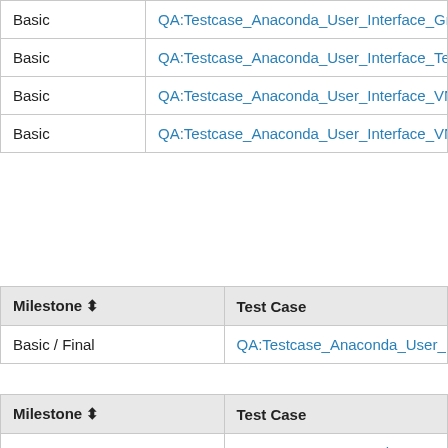| Milestone | Test Case |
| --- | --- |
| Basic | QA:Testcase_Anaconda_User_Interface_Graphic… |
| Basic | QA:Testcase_Anaconda_User_Interface_Text |
| Basic | QA:Testcase_Anaconda_User_Interface_VNC |
| Basic | QA:Testcase_Anaconda_User_Interface_VNC_Vncc… |
| Milestone | Test Case |
| --- | --- |
| Basic / Final | QA:Testcase_Anaconda_User_Interface_Basic_Vide… |
| Milestone | Test Case |
| --- | --- |
| Beta | QA:Testcase_Anaconda_User_Interface_serial_cons… |